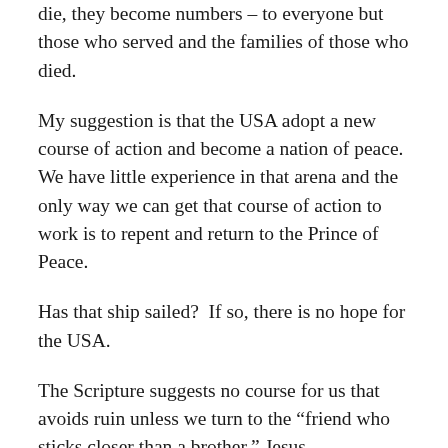die, they become numbers – to everyone but those who served and the families of those who died.
My suggestion is that the USA adopt a new course of action and become a nation of peace.  We have little experience in that arena and the only way we can get that course of action to work is to repent and return to the Prince of Peace.
Has that ship sailed?  If so, there is no hope for the USA.
The Scripture suggests no course for us that avoids ruin unless we turn to the “friend who sticks closer than a brother,” Jesus.
Soli Deo Gloria.  Only to God be the Glory.